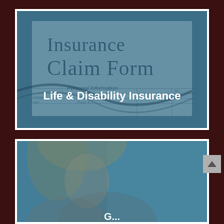[Figure (photo): Insurance Claim Form document with text overlay 'Life & Disability Insurance']
[Figure (photo): Woman with blond hair, partially visible, with a blue tint overlay, bottom of page, partially cropped]